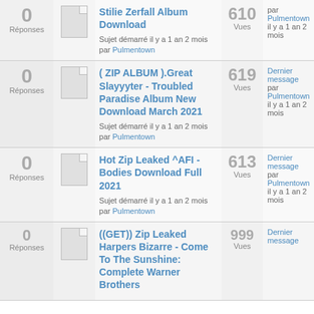| Réponses |  | Sujet | Vues | Dernier message |
| --- | --- | --- | --- | --- |
| 0 Réponses |  | Stilie Zerfall Album Download
Sujet démarré il y a 1 an 2 mois
par Pulmentown | 610 Vues | Dernier message
par Pulmentown
il y a 1 an 2 mois |
| 0 Réponses |  | ( ZIP ALBUM ).Great Slayyyter - Troubled Paradise Album New Download March 2021
Sujet démarré il y a 1 an 2 mois
par Pulmentown | 619 Vues | Dernier message
par Pulmentown
il y a 1 an 2 mois |
| 0 Réponses |  | Hot Zip Leaked ^AFI - Bodies Download Full 2021
Sujet démarré il y a 1 an 2 mois
par Pulmentown | 613 Vues | Dernier message
par Pulmentown
il y a 1 an 2 mois |
| 0 Réponses |  | ((GET)) Zip Leaked Harpers Bizarre - Come To The Sunshine: Complete Warner Brothers
Sujet démarré il y a 1 an 2 mois
par Pulmentown | 999 Vues | Dernier message
par Pulmentown
il y a 1 an 2 mois |